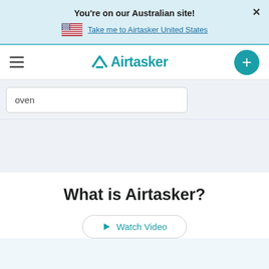You're on our Australian site!
Take me to Airtasker United States
[Figure (screenshot): Airtasker website screenshot showing banner, navigation with logo, search box with 'oven', and 'What is Airtasker?' section with Watch Video button]
What is Airtasker?
Watch Video